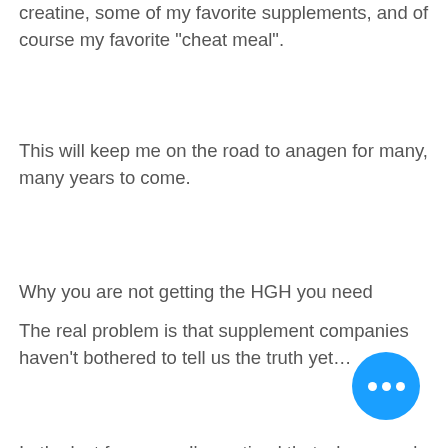creatine, some of my favorite supplements, and of course my favorite "cheat meal".
This will keep me on the road to anagen for many, many years to come.
Why you are not getting the HGH you need
The real problem is that supplement companies haven't bothered to tell us the truth yet…
In the last few years I've noticed that when people first buy some of these supplements, many are in fact taking them for the wrong reasons.
Unfortunately, that's the case here at HGH Depot.
The reason I say this is that the supplement